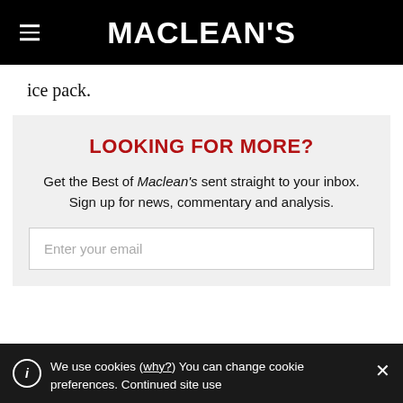MACLEAN'S
ice pack.
LOOKING FOR MORE?
Get the Best of Maclean's sent straight to your inbox. Sign up for news, commentary and analysis.
Enter your email
We use cookies (why?) You can change cookie preferences. Continued site use